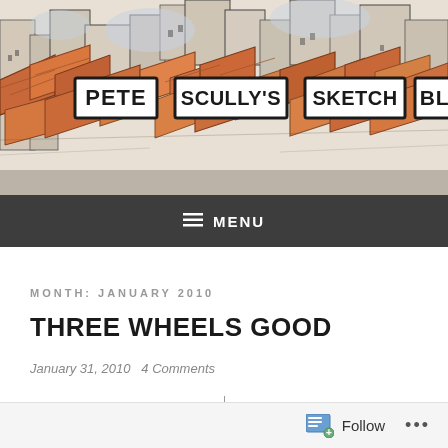[Figure (illustration): Colorful urban sketch illustration of rooftops with orange/terracotta tiled roofs and buildings. In the center, four rectangular signs read: PETE, SCULLY'S, SKETCH, BLOG in bold hand-drawn lettering. The scene is drawn in a loose sketchy style with watercolor washes in orange, yellow, and gray tones.]
MENU
MONTH: JANUARY 2010
THREE WHEELS GOOD
January 31, 2010  4 Comments
Follow  ...